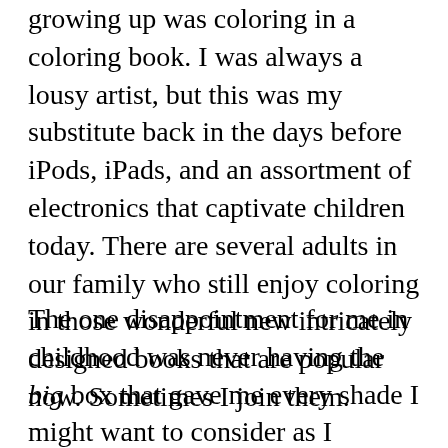growing up was coloring in a coloring book. I was always a lousy artist, but this was my substitute back in the days before iPods, iPads, and an assortment of electronics that captivate children today. There are several adults in our family who still enjoy coloring in those wonderful new intricately designed books that are popular now. Sometimes I join them.
The one disappointment for me in childhood was never having the big box that gave me every shade I might want to consider as I colored in my pages. In most areas of my life, I enjoy a lot of variety. It shows up with that desire for more different